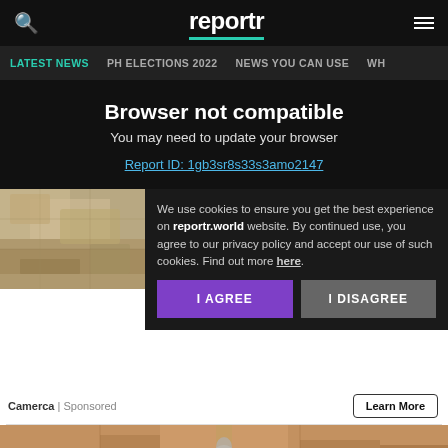reportr
LATEST NEWS | PH ELECTIONS 2022 | NEWS YOU CAN USE | WH...
Browser not compatible
You may need to update your browser
Report ID: 1gb3sr8s33s3amo2147
[Figure (photo): Stone or rock texture close-up]
Homeowners... Doorbell Cam...
We use cookies to ensure you get the best experience on reportr.world website. By continued use, you agree to our privacy policy and accept our use of such cookies. Find out more here.
I AGREE | I DISAGREE
Camerca | Sponsored
[Figure (photo): Hand holding a white light bulb]